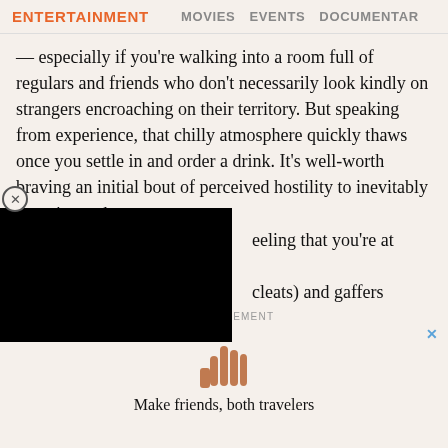ENTERTAINMENT   MOVIES   EVENTS   DOCUMENTAR
— especially if you're walking into a room full of regulars and friends who don't necessarily look kindly on strangers encroaching on their territory. But speaking from experience, that chilly atmosphere quickly thaws once you settle in and order a drink. It's well-worth braving an initial bout of perceived hostility to inevitably experience the [fee]ling that you're at home [in ... cleats) and gaffers
[Figure (other): Black video overlay rectangle obscuring part of article text]
ADVERTISEMENT
[Figure (other): Advertisement banner with hand illustration and text: Make friends, both travelers]